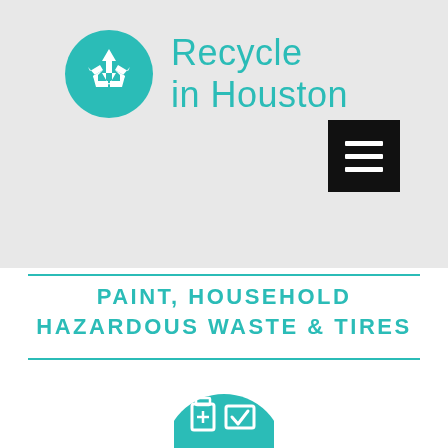[Figure (logo): Recycle in Houston logo: teal circle with white recycling arrows icon, next to teal text reading 'Recycle in Houston']
[Figure (other): Black square hamburger menu button with three white horizontal lines]
PAINT, HOUSEHOLD HAZARDOUS WASTE & TIRES
[Figure (illustration): Teal circle partially visible at bottom containing white icons of a container and a box with a checkmark]